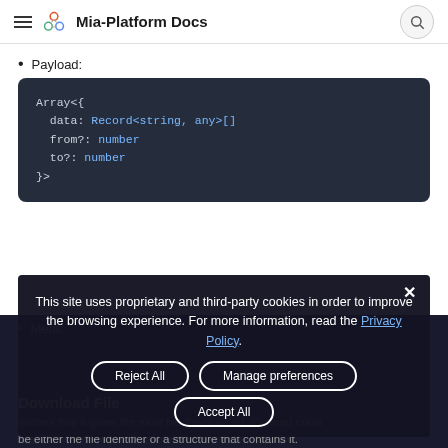Mia-Platform Docs
Payload:
Array<{
  data: Record<string, any>[]
  from?: number
  to?: number
}>
Meta:
This site uses proprietary and third-party cookies in order to improve the browsing experience. For more information, read the Privacy Policy.
Download File
notifies that a given file must be downloaded. Payload could be either the file identifier or a structure that contains it.